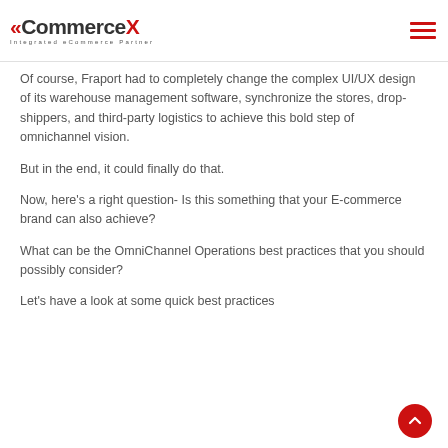CommerceX — Integrated eCommerce Partner
Of course, Fraport had to completely change the complex UI/UX design of its warehouse management software, synchronize the stores, drop-shippers, and third-party logistics to achieve this bold step of omnichannel vision.
But in the end, it could finally do that.
Now, here's a right question- Is this something that your E-commerce brand can also achieve?
What can be the OmniChannel Operations best practices that you should possibly consider?
Let's have a look at some quick best practices